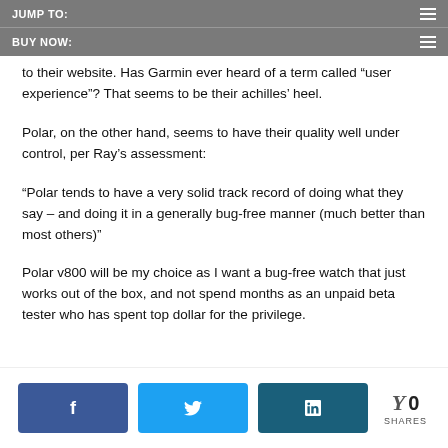JUMP TO:
BUY NOW:
to their website. Has Garmin ever heard of a term called “user experience”? That seems to be their achilles’ heel.
Polar, on the other hand, seems to have their quality well under control, per Ray’s assessment:
“Polar tends to have a very solid track record of doing what they say – and doing it in a generally bug-free manner (much better than most others)”
Polar v800 will be my choice as I want a bug-free watch that just works out of the box, and not spend months as an unpaid beta tester who has spent top dollar for the privilege.